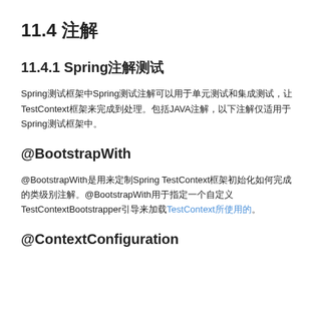11.4 注解
11.4.1 Spring注解测试
Spring测试框架中Spring测试注解可以用于单元测试和集成测试，让TestContext框架来完成到处理。包括JAVA注解，以下注解仅适用于Spring测试框架中。
@BootstrapWith
@BootstrapWith是用来定制Spring TestContext框架初始化如何完成的类级别注解。@BootstrapWith用于指定一个自定义TestContextBootstrapper引导来加载TestContext所使用的。
@ContextConfiguration